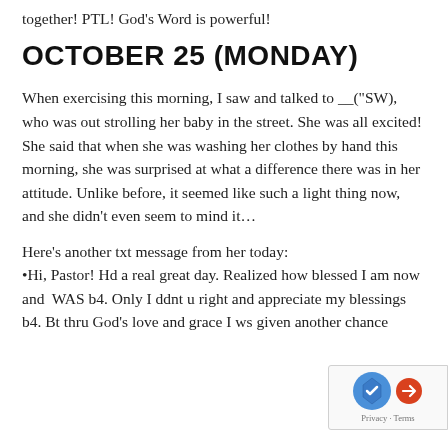together! PTL! God's Word is powerful!
OCTOBER 25 (MONDAY)
When exercising this morning, I saw and talked to __("SW), who was out strolling her baby in the street. She was all excited! She said that when she was washing her clothes by hand this morning, she was surprised at what a difference there was in her attitude. Unlike before, it seemed like such a light thing now, and she didn't even seem to mind it…
Here's another txt message from her today: •Hi, Pastor! Hd a real great day. Realized how blessed I am now and  WAS b4. Only I ddnt u right and appreciate my blessings b4. Bt thru God's love and grace I ws given another chance